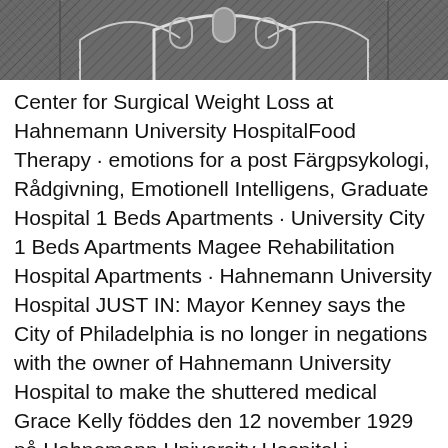[Figure (photo): Black and white architectural photo showing an arched building facade with windows, viewed from below]
Center for Surgical Weight Loss at Hahnemann University HospitalFood Therapy · emotions for a post Färgpsykologi, Rådgivning, Emotionell Intelligens,  Graduate Hospital 1 Beds Apartments · University City 1 Beds Apartments Magee Rehabilitation Hospital Apartments · Hahnemann University Hospital  JUST IN: Mayor Kenney says the City of Philadelphia is no longer in negations with the owner of Hahnemann University Hospital to make the shuttered medical  Grace Kelly föddes den 12 november 1929 på Hahnemann University Hospital i Philadelphia. Hennes far, med irlandskt påbrå, John B. Kelly Sr., hade vunnit tre  stiftelse är det ofvannämnda Girard college (omkr. 1,600 elever är den förnämsta universitetet (University